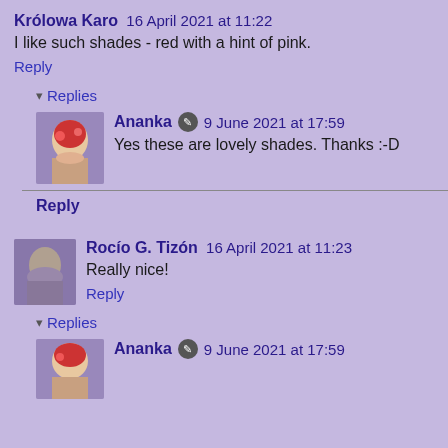Królowa Karo  16 April 2021 at 11:22
I like such shades - red with a hint of pink.
Reply
Replies
[Figure (photo): User avatar for Ananka - illustrated portrait of a woman with red hair and flowers]
Ananka  9 June 2021 at 17:59
Yes these are lovely shades. Thanks :-D
Reply
Rocío G. Tizón  16 April 2021 at 11:23
[Figure (photo): User avatar for Rocío G. Tizón - illustrated figure]
Really nice!
Reply
Replies
[Figure (photo): User avatar for Ananka - illustrated portrait of a woman with red hair and flowers]
Ananka  9 June 2021 at 17:59